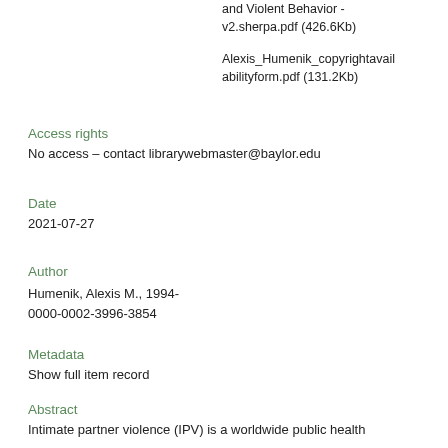and Violent Behavior - v2.sherpa.pdf (426.6Kb)
Alexis_Humenik_copyrightavailabilityform.pdf (131.2Kb)
Access rights
No access – contact librarywebmaster@baylor.edu
Date
2021-07-27
Author
Humenik, Alexis M., 1994-
0000-0002-3996-3854
Metadata
Show full item record
Abstract
Intimate partner violence (IPV) is a worldwide public health